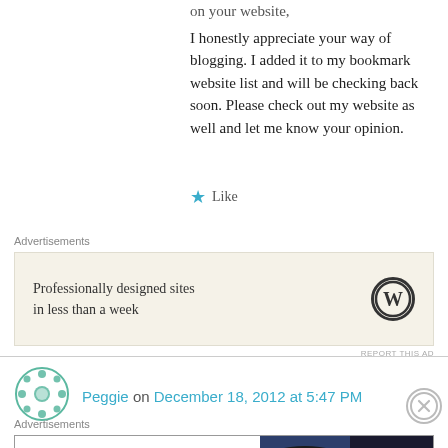on your website, I honestly appreciate your way of blogging. I added it to my bookmark website list and will be checking back soon. Please check out my website as well and let me know your opinion.
★ Like
Advertisements
[Figure (screenshot): WordPress advertisement: 'Professionally designed sites in less than a week' with WordPress logo]
REPORT THIS AD
Peggie on December 18, 2012 at 5:47 PM
Advertisements
[Figure (screenshot): Bloomingdale's advertisement: 'View Today's Top Deals!' with SHOP NOW > button and model in hat]